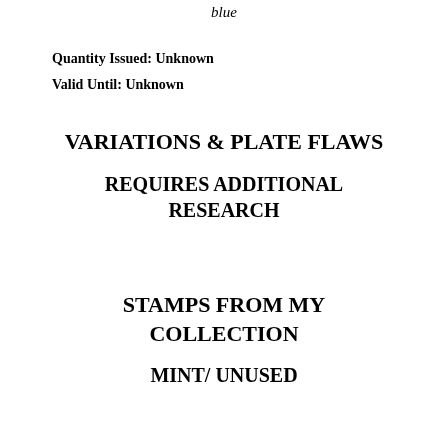blue
Quantity Issued: Unknown
Valid Until: Unknown
VARIATIONS & PLATE FLAWS
REQUIRES ADDITIONAL RESEARCH
STAMPS FROM MY COLLECTION
MINT/ UNUSED